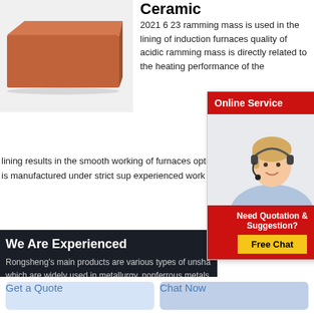[Figure (photo): Brown ceramic/refractory brick product photo on light gray background]
Ceramic
2021 6 23 ramming mass is used in the lining of induction furnaces quality of acidic ramming mass is directly related to the heating performance of the lining results in the smooth working of furnaces optimu metallurgical control it is manufactured under strict sup experienced work
[Figure (photo): Online Service popup with red header, close button, female customer service agent with headset, and Free Chat button. Header: Online Service. Footer text: Need Quotation & Suggestion? Free Chat button in yellow.]
We Are Experienced
Rongsheng's main products are various types of unsha which are widely used in metallurgy, nonferrous metals, building materials, electric power, petrochemical and other industries. Rongsheng pays attention to technological innovation and product research and development, and has established close cooperative relations with many
Get a Quote
Chat Now